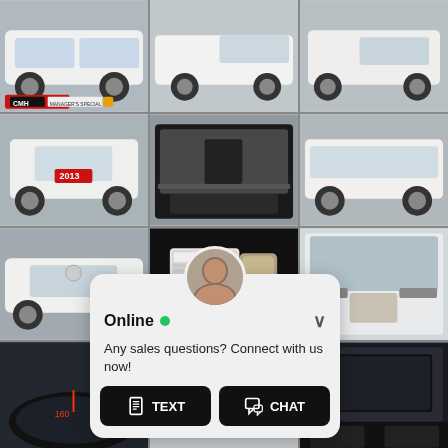[Figure (photo): Grid of 12 car photos showing a white Toyota 4Runner SUV from various angles including front, rear, side, interior, cargo area, and key fob. A live chat widget overlay appears at the bottom center with TEXT and CHAT buttons.]
Online • Any sales questions? Connect with us now!
TEXT
CHAT